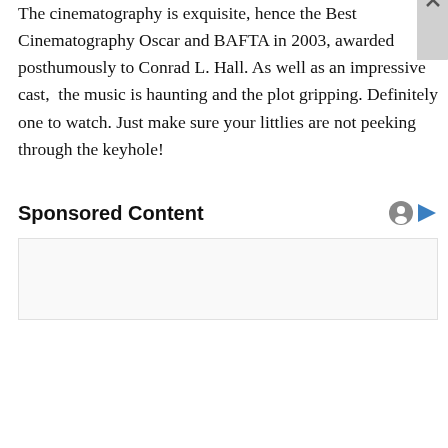The cinematography is exquisite, hence the Best Cinematography Oscar and BAFTA in 2003, awarded posthumously to Conrad L. Hall. As well as an impressive cast,  the music is haunting and the plot gripping. Definitely one to watch. Just make sure your littlies are not peeking through the keyhole!
Sponsored Content
Privacy & Cookies: This site uses cookies. By continuing to use this website, you agree to their use.
To find out more, including how to control cookies, see here: Cookie Policy
Close and accept